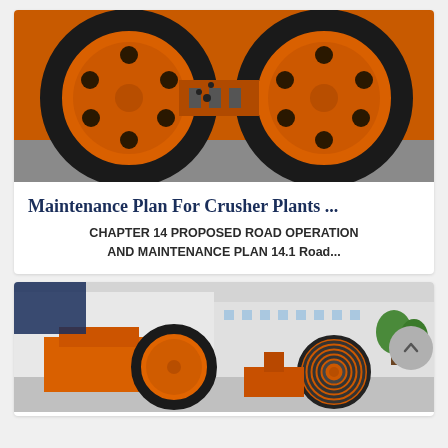[Figure (photo): Close-up photo of large orange industrial crusher plant wheels/flywheels with black rubber treads, multiple units visible side by side in a warehouse or factory setting.]
Maintenance Plan For Crusher Plants ...
CHAPTER 14 PROPOSED ROAD OPERATION AND MAINTENANCE PLAN 14.1 Road...
[Figure (photo): Photo of orange industrial jaw crusher machines with large flywheels/pulleys with grooved belts, in an outdoor industrial yard setting.]